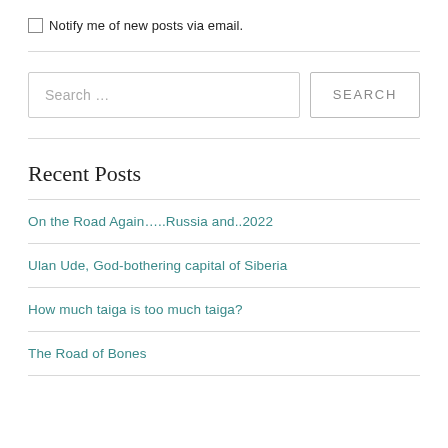Notify me of new posts via email.
On the Road Again…..Russia and..2022
Ulan Ude, God-bothering capital of Siberia
How much taiga is too much taiga?
The Road of Bones
Recent Posts